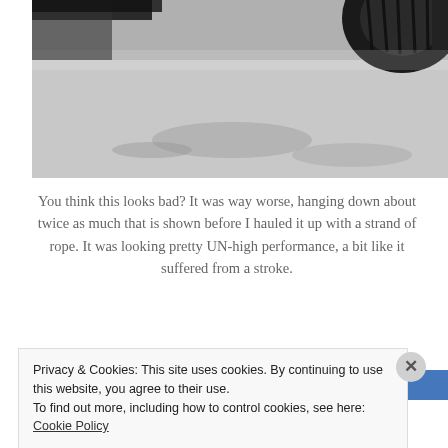[Figure (photo): Close-up photograph of a car underside showing a tire and the road surface beneath, taken from a low angle. The road has tire marks and the image is partially cropped at the top.]
You think this looks bad? It was way worse, hanging down about twice as much that is shown before I hauled it up with a strand of rope. It was looking pretty UN-high performance, a bit like it suffered from a stroke.
[Figure (photo): Partially visible photograph at bottom of page, showing a blue-themed image, cropped by the cookie consent banner.]
Privacy & Cookies: This site uses cookies. By continuing to use this website, you agree to their use.
To find out more, including how to control cookies, see here: Cookie Policy

Close and accept